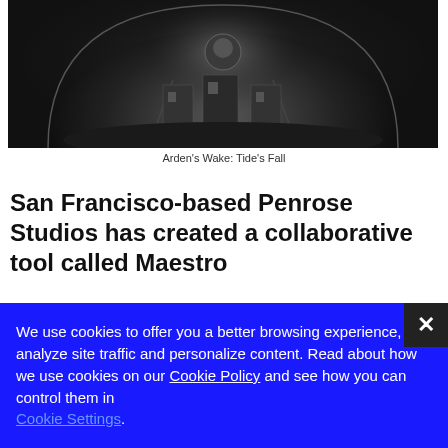[Figure (photo): Black and white dramatic image of a dome-shaped structure with interior visible, reminiscent of a snow globe or underwater station, with a figure visible inside]
Arden's Wake: Tide's Fall
San Francisco-based Penrose Studios has created a collaborative tool called Maestro
We use cookies to offer you a better browsing experience, analyze site traffic and personalize content. Read about how we use cookies on our Cookie Policy and see how you can control them in Cookie Settings.